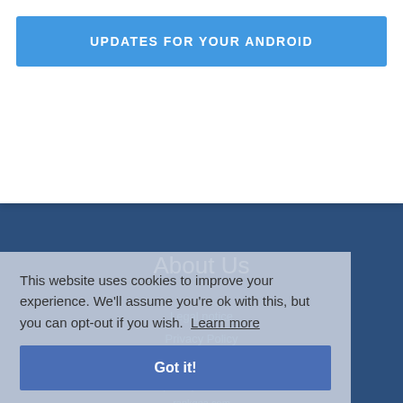[Figure (screenshot): Blue button labeled UPDATES FOR YOUR ANDROID on a white card]
About Us
Legal notice
Privacy Policy
Cookies policy
Visit
update-phones.com
rankgea.com
This website uses cookies to improve your experience. We'll assume you're ok with this, but you can opt-out if you wish.  Learn more
Got it!